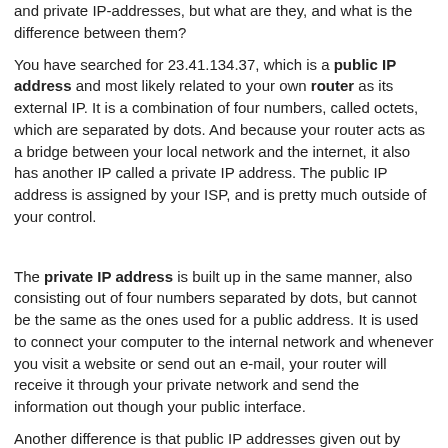and private IP-addresses, but what are they, and what is the difference between them?
You have searched for 23.41.134.37, which is a public IP address and most likely related to your own router as its external IP. It is a combination of four numbers, called octets, which are separated by dots. And because your router acts as a bridge between your local network and the internet, it also has another IP called a private IP address. The public IP address is assigned by your ISP, and is pretty much outside of your control.
The private IP address is built up in the same manner, also consisting out of four numbers separated by dots, but cannot be the same as the ones used for a public address. It is used to connect your computer to the internal network and whenever you visit a website or send out an e-mail, your router will receive it through your private network and send the information out though your public interface.
Another difference is that public IP addresses given out by providers are likely to change as every router in the world needs a unique public IP address, basically just like people and their home address, so ISPs tend to use dynamic IP addresses to make sure they don't need more than necessary